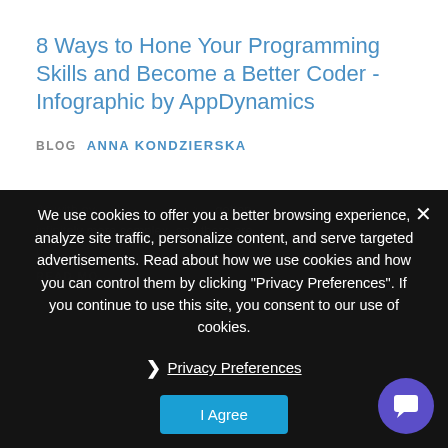8 Ways to Hone Your Programming Skills and Become a Better Coder - Infographic by AppDynamics
BLOG   ANNA KONDZIERSKA
As with everything, coding has gotten infinitely more complex and there are new ...
READ MO...
We use cookies to offer you a better browsing experience, analyze site traffic, personalize content, and serve targeted advertisements. Read about how we use cookies and how you can control them by clicking "Privacy Preferences". If you continue to use this site, you consent to our use of cookies.
Privacy Preferences
I Agree